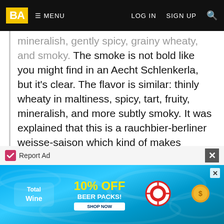BA  MENU  LOG IN  SIGN UP
mineralish, gently spicy, grainy wheaty, and smoky. The smoke is not bold like you might find in an Aecht Schlenkerla, but it's clear. The flavor is similar: thinly wheaty in maltiness, spicy, tart, fruity, mineralish, and more subtly smoky. It was explained that this is a rauchbier-berliner weisse-saison which kind of makes sense. There's a definite smokiness to it, as well as some tartness, but it's also got some malt and body to it and spice, so it all comes together.
Mar 01, 2017
Reviewed by Moose90 from Washington
2.19/5  rDev -41.6%
look: 1.75  |  smell: 2  |  taste: 2  |  feel: 3  |  overall: 2.5
22oz Bottle poured into a 13oz tulip
[Figure (screenshot): Advertisement banner for Total Wine offering 10% off beer packs, with pool/summer background imagery]
Report Ad